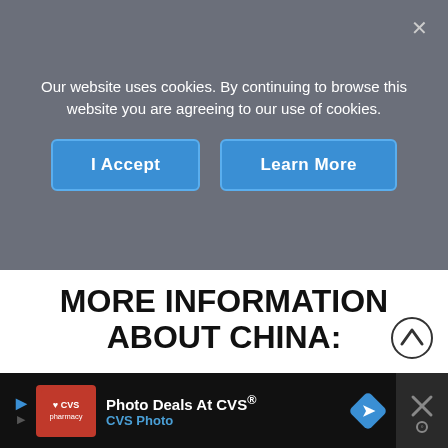Our website uses cookies. By continuing to browse this website you are agreeing to our use of cookies.
I Accept
Learn More
MORE INFORMATION ABOUT CHINA:
FIRST IMPRESSIONS:  First Impressions of China
TRAVEL TIPS:  China Travel Tips: Things to
Photo Deals At CVS® CVS Photo